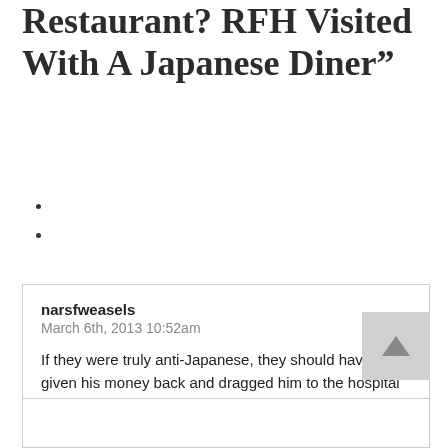Restaurant? RFH Visited With A Japanese Diner”
narsfweasels
March 6th, 2013 10:52am

If they were truly anti-Japanese, they should have given his money back and dragged him to the hospital to have his stomach pumped.